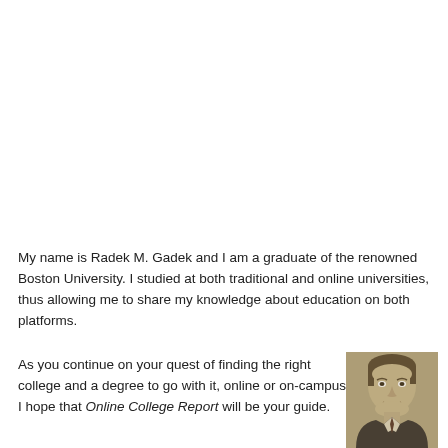My name is Radek M. Gadek and I am a graduate of the renowned Boston University. I studied at both traditional and online universities, thus allowing me to share my knowledge about education on both platforms.
As you continue on your quest of finding the right college and a degree to go with it, online or on-campus, I hope that Online College Report will be your guide.
[Figure (photo): Sepia-toned headshot portrait of a man (Radek M. Gadek), smiling slightly, wearing a suit, with short dark hair.]